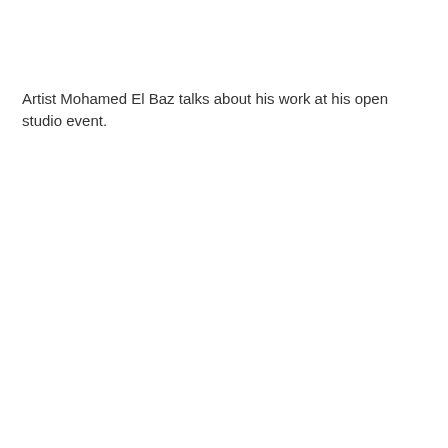Artist Mohamed El Baz talks about his work at his open studio event.